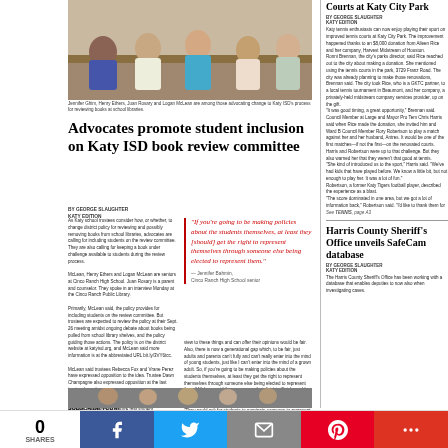[Figure (photo): Group of four students sitting around a table, smiling at camera, school setting]
Jennifer Ghim, Henry Ethers, Juan Rosary and Logan McLean are among those advocating change to Katy ISD's process for reviewing books at school libraries.
Advocates promote student inclusion on Katy ISD book review committee
BY GEORGE SLAUGHTER
KAIY EDITION
As Katy school trustees consider how, or whether, to change district policy for reviewing and possibly removing books from school libraries, advocates are calling for including students on the review committee. They are also calling for keeping a book under challenge available to students during the review process. McLean, Henry Ethers and Logan McLean are seniors at Cinco Ranch High School. Juan Rosary is a parent and counselor. They spoke in an interview Monday at the Cinco Ranch Public Library. Primarily, McLean said, the policy provides for including students on the review committee. But trustees are expected to review the policy at their Sept. 26 meeting amidst ongoing debate about books being pulled from school library shelves, and the policy guiding those actions. The policy is on the district website at katyisd.org, and McLean said more information is at the abbreviated URL bit.ly/3VY6tcc. McLean said trustees Rebecca Fox and Vrane Perez have expressed opposition to the idea. Trustee Dawn Champagne also expressed opposition at the last trustees' meeting. Tahnie said having students on the committee gives students the chance to ensure that student perspectives are being taken into account. She said she and others wanted to ensure that students who had for the discussion are at least 16 years of age and have a mature perspective. 'To be fair, there are students and high schoolers who really don't have that adult and mature perspective,' Tahnie said. 'So, at least trying to ensure students who can give their point of view to these things and can offer their opinions would be fair. Also, there is now a generational gap which, to be fair, just adults and parents can't fully and can't really enter into the mind of young students, just like I can't enter into the mind of a grown adult. So, if you're going to be making policies about the students themselves, at least they get the right to represent themselves through someone else being elected to represent them.' McLean said there are ways that district officials could find such nominees. 'They could ask for students to nominate someone to represent them,' Ethers said. 'I think there are issues in that and I don't think that's the best idea, but I do think the idea of having the adults find someone that they feel is mature enough to make these decisions, that's probably best.' Rosary said she has reviewed book review policies for other districts. 'Our district is unique in that we have not historically had several book review committees or book review committees,' Rosary said. 'So, you don't have to re-create the wheel. There are best practices already at responsible school districts throughout the state of'
See BOOKS, page A3
"If you're going to be making policies about the students themselves, at least they [should] get the right to represent themselves through someone else being elected to represent them."
— Jennifer Bahmin, Cinco Ranch High School senior
HAVE A NEWS TIP?
newsdesk@kttimes.com
SUBSCRIBE TODAY
281-391-3740
[Figure (photo): Group photo of people, possibly students or community members]
Courts at Katy City Park
BY GEORGE SLAUGHTER
KATY EDITION
Katy tennis enthusiasts can now enjoy playing their sport on improved tennis courts at Katy City Park. The improvement happened thanks to an $8,000 donation from Aileen Rice and her company, Harvest Midstream of Houston. Ronni Brennan, the city's parks director, said Rice reached out to the city about making a donation. She mentioned using the tennis courts in the park, 3729 Franz Road. The city was already planning to make those renovations, Brennan said. The city took Rice, who is a GKTC partner, to a local tennis tournament in Beaumont, and her company, a privately-held midstream company services provider, up on the gift. 'It was good timing, a great opportunity,' Brennan said. Council Member at Large and Mayor Pro Tem Chris Harris said when Rice made the donation, she invited him and Ward B Council Member Rory Robertson to play a match against her and her husband, Antres. It would be one of the first matches—if not the first—on the renovated courts. Harris and Robertson were up to that challenge. But they also warned her that they weren't that good at tennis. 'She kind of introduced us to the sport,' Harris said. 'We've had kids that have played before. We know a little bit, but not enough to play her. It was a lot of fun.' Robertson, a former Katy Tigers football player, described the experience as a blast. 'The score dominated in one area, but we got a lot of information back,' Robertson said. 'I'd like to thank them for'
See TENNIS, page A3
Harris County Sheriff's Office unveils SafeCam database
BY GEORGE SLAUGHTER
KATY EDITION
The Harris County Sheriff's Office has been working with a database that enables deputies to now also when investigating cases.